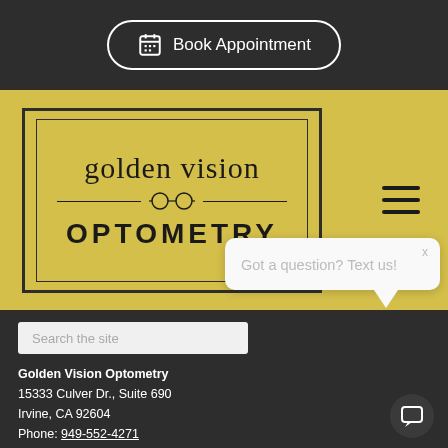[Figure (logo): Book Appointment button with calendar icon, white border on dark background]
[Figure (logo): Golden Vision Optometry logo in yellow box with glasses icon]
Search the site
Got a question? Text us!
Golden Vision Optometry
15333 Culver Dr., Suite 690
Irvine, CA 92604
Phone: 949-552-4271
https://www.goldenvisionoptometry.com